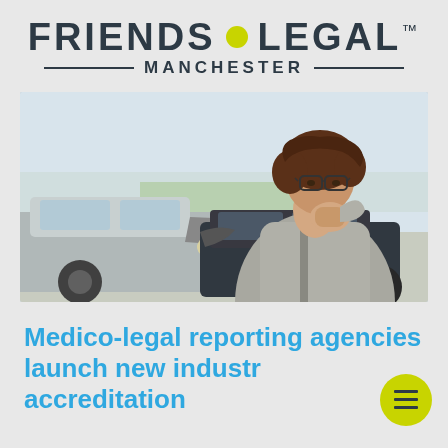[Figure (logo): Friends Legal Manchester logo with yellow dot between FRIENDS and LEGAL, and horizontal lines flanking MANCHESTER subtitle]
[Figure (photo): Woman with glasses holding her neck in pain, standing in front of a car accident scene with two damaged vehicles]
Medico-legal reporting agencies launch new industry accreditation